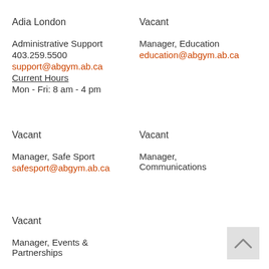Adia London
Administrative Support
403.259.5500
support@abgym.ab.ca
Current Hours
Mon - Fri: 8 am - 4 pm
Vacant
Manager, Education
education@abgym.ab.ca
Vacant
Manager, Safe Sport
safesport@abgym.ab.ca
Vacant
Manager,
Communications
Vacant
Manager, Events &
Partnerships